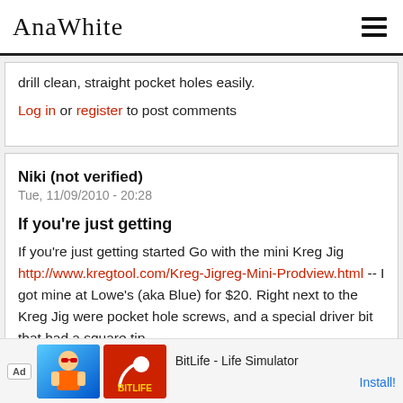AnaWhite
drill clean, straight pocket holes easily.
Log in or register to post comments
Niki (not verified)
Tue, 11/09/2010 - 20:28
If you're just getting
If you're just getting started Go with the mini Kreg Jig http://www.kregtool.com/Kreg-Jigreg-Mini-Prodview.html -- I got mine at Lowe's (aka Blue) for $20. Right next to the Kreg Jig were pocket hole screws, and a special driver bit that had a square tip for
[Figure (infographic): Ad banner: BitLife - Life Simulator with Install button]